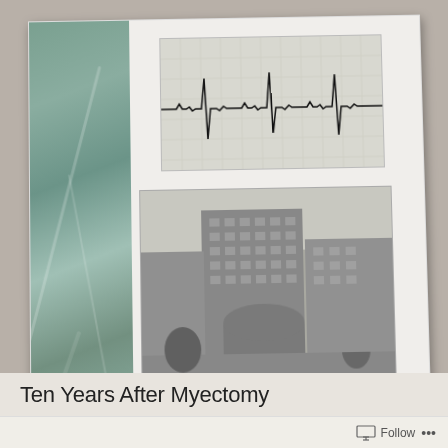[Figure (photo): A document/booklet cover photographed on a granite countertop. The cover features a teal/green marble strip on the left side, a black-and-white ECG/EKG tracing photo in the upper right, a black-and-white photo of a large hospital or medical center building below the ECG, and a white label box reading 'Survey Research Center' with an underline.]
Ten Years After Myectomy